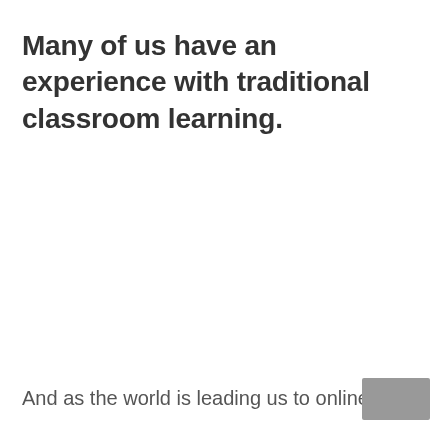Many of us have an experience with traditional classroom learning.
And as the world is leading us to online